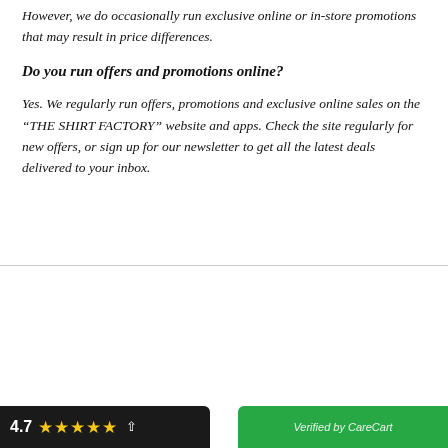However, we do occasionally run exclusive online or in-store promotions that may result in price differences.
Do you run offers and promotions online?
Yes. We regularly run offers, promotions and exclusive online sales on the “THE SHIRT FACTORY” website and apps. Check the site regularly for new offers, or sign up for our newsletter to get all the latest deals delivered to your inbox.
[Figure (screenshot): Popup notification card showing a shirt image, text 'Laxman D. in Gandhidham, India purchased MEN’S COTTON OXFORD', timestamp '2 hour(s) ago', with a close button. Below: black rating bar showing 4.7 with 5 yellow stars, and green 'Verified by CareCart' bar.]